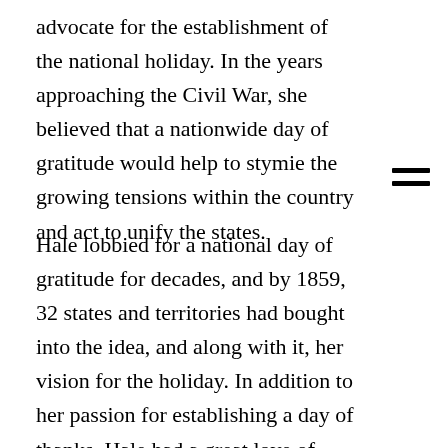advocate for the establishment of the national holiday. In the years approaching the Civil War, she believed that a nationwide day of gratitude would help to stymie the growing tensions within the country and act to unify the states.
Hale lobbied for a national day of gratitude for decades, and by 1859, 32 states and territories had bought into the idea, and along with it, her vision for the holiday. In addition to her passion for establishing a day of thanks, Hale had a great love of roast turkey. Her novel, Northwood, published in 1927, contained a rich record of a supposed Thanksgiving dinner, with a roast turkey taking the